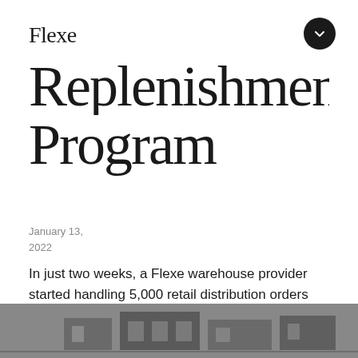Flexe
Replenishment Program
January 13, 2022
In just two weeks, a Flexe warehouse provider started handling 5,000 retail distribution orders per day for one of the world's largest coffee retailers.
[Figure (photo): Warehouse interior photo shown at the bottom of the page in grayscale]